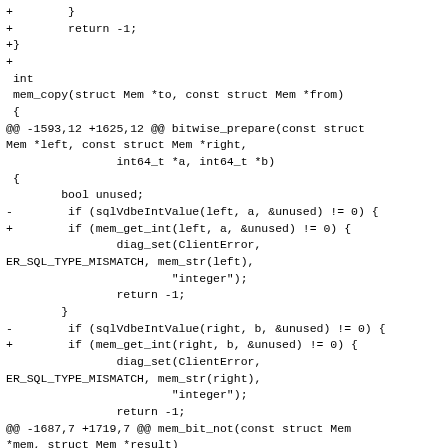A code diff showing changes to mem_copy and bitwise_prepare functions, replacing sqlVdbeIntValue calls with mem_get_int calls.